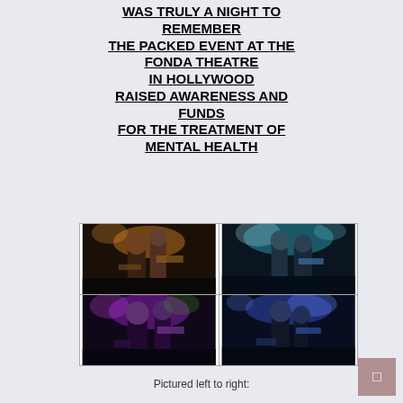WAS TRULY A NIGHT TO REMEMBER THE PACKED EVENT AT THE FONDA THEATRE IN HOLLYWOOD RAISED AWARENESS AND FUNDS FOR THE TREATMENT OF MENTAL HEALTH
[Figure (photo): Four concert photos in a 2x2 grid showing bands performing on stage with colorful stage lighting at the Fonda Theatre in Hollywood]
Pictured left to right: